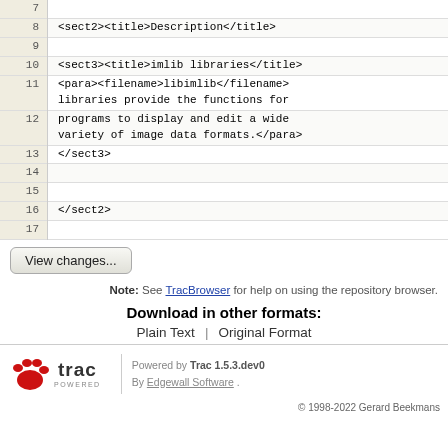[Figure (screenshot): Code viewer showing XML/DocBook markup with line numbers 7-17. Lines show sect2, sect3 elements with title and para tags containing text about imlib libraries.]
View changes...
Note: See TracBrowser for help on using the repository browser.
Download in other formats:
Plain Text  |  Original Format
trac POWERED  Powered by Trac 1.5.3.dev0  By Edgewall Software .  © 1998-2022 Gerard Beekmans